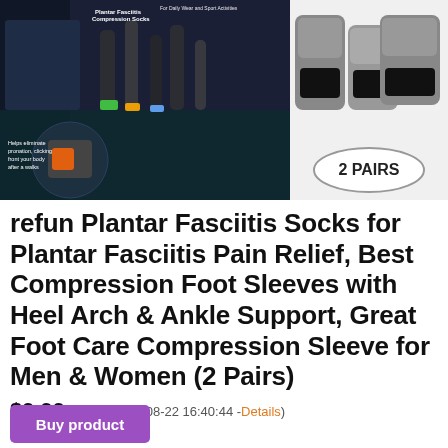[Figure (photo): Product images for compression socks: left side shows dark background with runners and sock close-ups including a circular inset of orange/gray sock, right side shows gray compression socks on white background with '2 PAIRS' oval label]
refun Plantar Fasciitis Socks for Plantar Fasciitis Pain Relief, Best Compression Foot Sleeves with Heel Arch & Ankle Support, Great Foot Care Compression Sleeve for Men & Women (2 Pairs)
$9.99 ( as on 2022-08-22 16:40:44 - Details )
Buy product